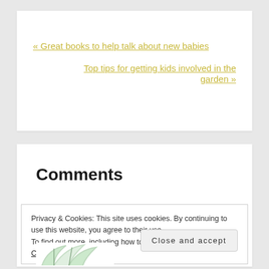« Great books to help talk about new babies
Top tips for getting kids involved in the garden »
Comments
Privacy & Cookies: This site uses cookies. By continuing to use this website, you agree to their use.
To find out more, including how to control cookies, see here: Cookie Policy
Close and accept